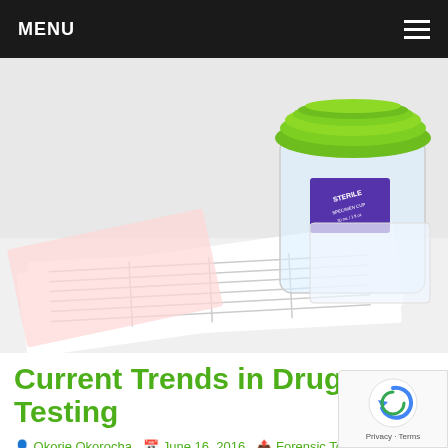MENU
[Figure (photo): A sterile urine specimen cup with a green lid sitting on top of lab requisition forms on a white background.]
Current Trends in Drug Testing
Okorie Okorocha  June 16, 2016  Forensic Toxicology